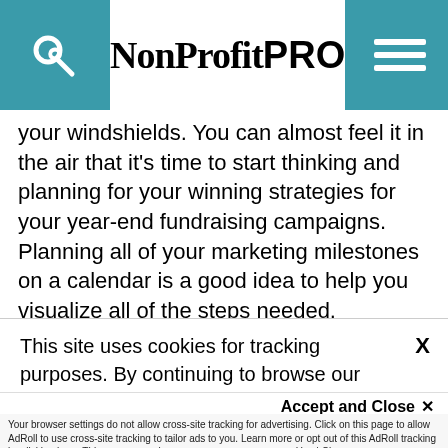NonProfit PRO
your windshields. You can almost feel it in the air that it's time to start thinking and planning for your winning strategies for your year-end fundraising campaigns. Planning all of your marketing milestones on a calendar is a good idea to help you visualize all of the steps needed.
You'll need to start calling on your copywriters, consultants, graphic designers and your printers
This site uses cookies for tracking purposes. By continuing to browse our website, you agree to the storing of first- and third-party cookies on your device to enhance site navigation, analyze site
usage, and assist in our marketing and
Accept and Close ✕
Your browser settings do not allow cross-site tracking for advertising. Click on this page to allow AdRoll to use cross-site tracking to tailor ads to you. Learn more or opt out of this AdRoll tracking by clicking here. This message only appears once.